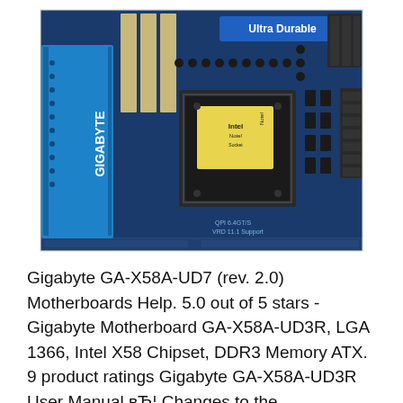[Figure (photo): Close-up photo of a Gigabyte motherboard (GA-X58A series) showing the CPU socket area with an Intel label, blue PCIe slots labeled GIGABYTE, memory slots, power connectors, and a blue banner reading 'Ultra Durable' at the top.]
Gigabyte GA-X58A-UD7 (rev. 2.0) Motherboards Help. 5.0 out of 5 stars - Gigabyte Motherboard GA-X58A-UD3R, LGA 1366, Intel X58 Chipset, DDR3 Memory ATX. 9 product ratings Gigabyte GA-X58A-UD3R User Manual вЂ¦ Changes to the specifications and features in this